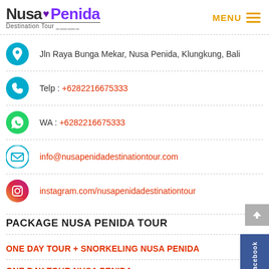[Figure (logo): Nusa Penida Destination Tour logo with heart icon and menu button]
Jln Raya Bunga Mekar, Nusa Penida, Klungkung, Bali
Telp : +6282216675333
WA : +6282216675333
info@nusapenidadestinationtour.com
instagram.com/nusapenidadestinationtour
PACKAGE NUSA PENIDA TOUR
ONE DAY TOUR + SNORKELING NUSA PENIDA
ONE DAY TOUR NUSA PENIDA
OVERNIGHT 2 DAY 1 NIGHT IN NUSA PENIDA